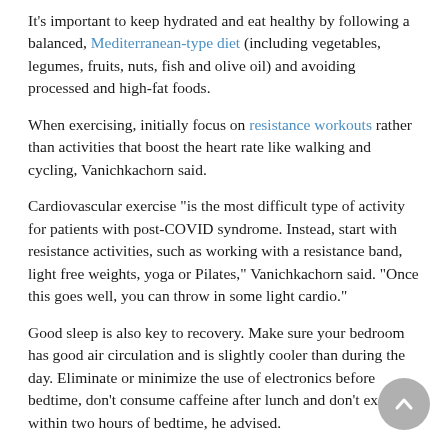It's important to keep hydrated and eat healthy by following a balanced, Mediterranean-type diet (including vegetables, legumes, fruits, nuts, fish and olive oil) and avoiding processed and high-fat foods.
When exercising, initially focus on resistance workouts rather than activities that boost the heart rate like walking and cycling, Vanichkachorn said.
Cardiovascular exercise "is the most difficult type of activity for patients with post-COVID syndrome. Instead, start with resistance activities, such as working with a resistance band, light free weights, yoga or Pilates," Vanichkachorn said. "Once this goes well, you can throw in some light cardio."
Good sleep is also key to recovery. Make sure your bedroom has good air circulation and is slightly cooler than during the day. Eliminate or minimize the use of electronics before bedtime, don't consume caffeine after lunch and don't exercise within two hours of bedtime, he advised.
It's also good to create a normal daytime schedule by waking up at a certain time, eating regular meals and having